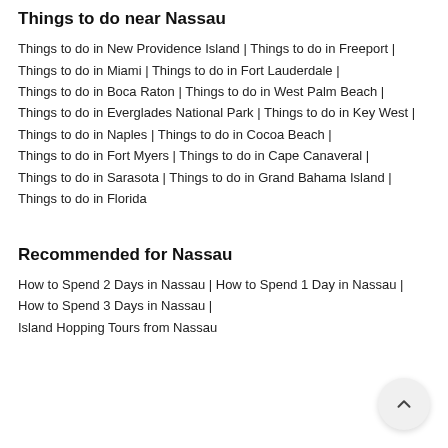Things to do near Nassau
Things to do in New Providence Island | Things to do in Freeport | Things to do in Miami | Things to do in Fort Lauderdale | Things to do in Boca Raton | Things to do in West Palm Beach | Things to do in Everglades National Park | Things to do in Key West | Things to do in Naples | Things to do in Cocoa Beach | Things to do in Fort Myers | Things to do in Cape Canaveral | Things to do in Sarasota | Things to do in Grand Bahama Island | Things to do in Florida
Recommended for Nassau
How to Spend 2 Days in Nassau | How to Spend 1 Day in Nassau | How to Spend 3 Days in Nassau | Island Hopping Tours from Nassau